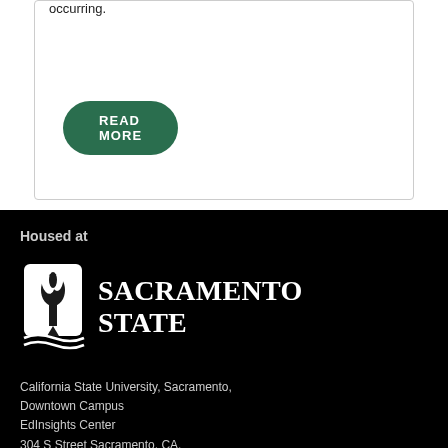occurring.
READ MORE
Housed at
[Figure (logo): Sacramento State university logo: torch icon with waves and text SACRAMENTO STATE]
California State University, Sacramento, Downtown Campus EdInsights Center 304 S Street Sacramento, CA.